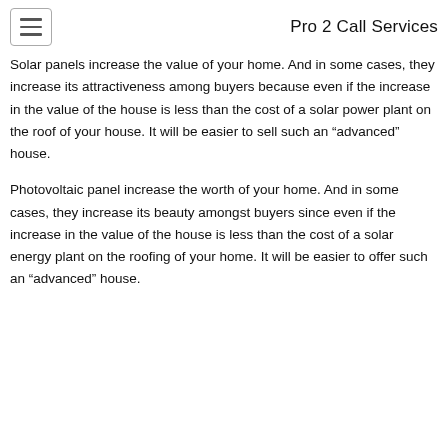Pro 2 Call Services
Solar panels increase the value of your home. And in some cases, they increase its attractiveness among buyers because even if the increase in the value of the house is less than the cost of a solar power plant on the roof of your house. It will be easier to sell such an “advanced” house.
Photovoltaic panel increase the worth of your home. And in some cases, they increase its beauty amongst buyers since even if the increase in the value of the house is less than the cost of a solar energy plant on the roofing of your home. It will be easier to offer such an “advanced” house.